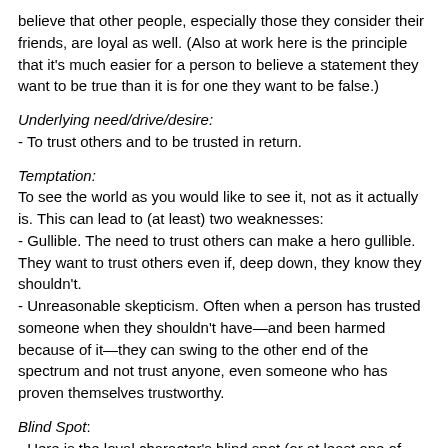believe that other people, especially those they consider their friends, are loyal as well. (Also at work here is the principle that it's much easier for a person to believe a statement they want to be true than it is for one they want to be false.)
Underlying need/drive/desire:
- To trust others and to be trusted in return.
Temptation:
To see the world as you would like to see it, not as it actually is. This can lead to (at least) two weaknesses:
- Gullible. The need to trust others can make a hero gullible. They want to trust others even if, deep down, they know they shouldn't.
- Unreasonable skepticism. Often when a person has trusted someone when they shouldn't have—and been harmed because of it—they can swing to the other end of the spectrum and not trust anyone, even someone who has proven themselves trustworthy.
Blind Spot:
- Here is the loyal character's blind spot (or at least one of